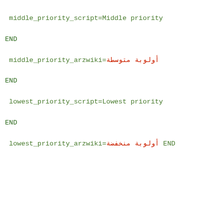middle_priority_script=Middle priority
END
 middle_priority_arzwiki=أولوبة متوسطة
END
 lowest_priority_script=Lowest priority
END
 lowest_priority_arzwiki=أولوبة منخفضة END

##################################
# ERROR DESCRIPTIONS
##################################


 error_001_prio_arzwiki=3 END
 error_001_head_arzwiki=كلمة template أو
قالب غير مفيدة داخل قالب END